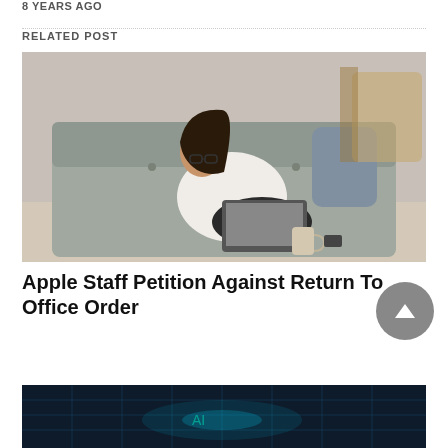8 YEARS AGO
RELATED POST
[Figure (photo): Woman with glasses sitting cross-legged on a grey couch working on a laptop, with a mug and phone nearby, in a cozy room setting.]
Apple Staff Petition Against Return To Office Order
[Figure (photo): Dark digital/tech themed image with grid and glowing blue-green elements, partial view at bottom of page.]